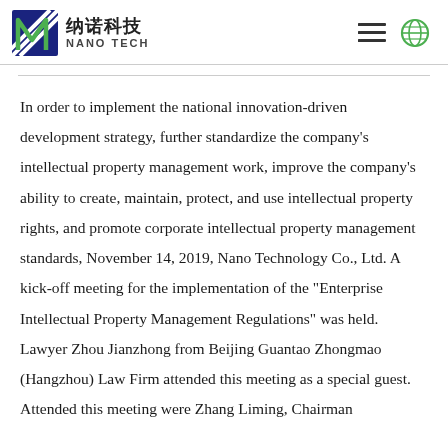纳诺科技 NANO TECH
In order to implement the national innovation-driven development strategy, further standardize the company's intellectual property management work, improve the company's ability to create, maintain, protect, and use intellectual property rights, and promote corporate intellectual property management standards, November 14, 2019, Nano Technology Co., Ltd. A kick-off meeting for the implementation of the "Enterprise Intellectual Property Management Regulations" was held. Lawyer Zhou Jianzhong from Beijing Guantao Zhongmao (Hangzhou) Law Firm attended this meeting as a special guest. Attended this meeting were Zhang Liming, Chairman